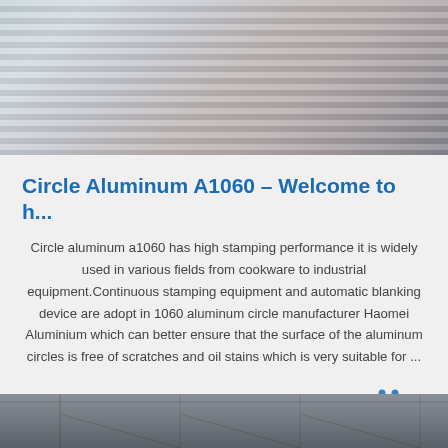[Figure (photo): Close-up photo of stacked aluminum coils/rolls with metallic silver and pink-tinted surface visible]
Circle Aluminum A1060 – Welcome to h...
Circle aluminum a1060 has high stamping performance it is widely used in various fields from cookware to industrial equipment.Continuous stamping equipment and automatic blanking device are adopt in 1060 aluminum circle manufacturer Haomei Aluminium which can better ensure that the surface of the aluminum circles is free of scratches and oil stains which is very suitable for ...
[Figure (logo): TOP logo with blue dotted arc above the letters TOP in blue]
[Figure (photo): Industrial warehouse or factory interior with steel roof structure visible]